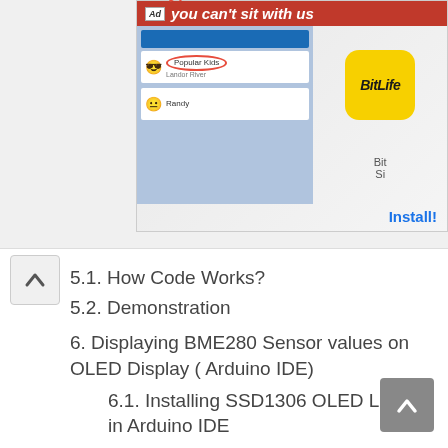[Figure (screenshot): Advertisement banner for BitLife app showing 'you can't sit with us' text with social media UI and app icon]
5.1. How Code Works?
5.2. Demonstration
6. Displaying BME280 Sensor values on OLED Display ( Arduino IDE)
6.1. Installing SSD1306 OLED Library in Arduino IDE
6.2. Schematic – OLED with Arduino and BME280
6.3. Arduino Sketch to Display BM280 Readings on OLED
6.4. How Code Works?
6.5. Demonstration